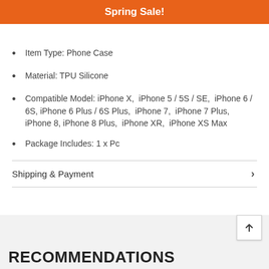Spring Sale!
Item Type: Phone Case
Material: TPU Silicone
Compatible Model: iPhone X,  iPhone 5 / 5S / SE,  iPhone 6 / 6S, iPhone 6 Plus / 6S Plus,  iPhone 7,  iPhone 7 Plus, iPhone 8, iPhone 8 Plus,  iPhone XR,  iPhone XS Max
Package Includes: 1 x Pc
Shipping & Payment
RECOMMENDATIONS